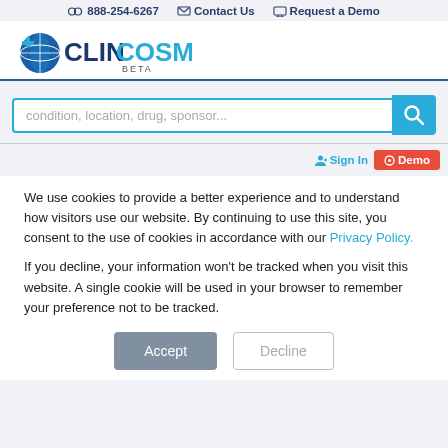888-254-6267   Contact Us   Request a Demo
[Figure (logo): ClinCosm Beta logo with globe icon]
condition, location, drug, sponsor...
Sign In   Demo
We use cookies to provide a better experience and to understand how visitors use our website. By continuing to use this site, you consent to the use of cookies in accordance with our Privacy Policy.

If you decline, your information won't be tracked when you visit this website. A single cookie will be used in your browser to remember your preference not to be tracked.
Accept   Decline